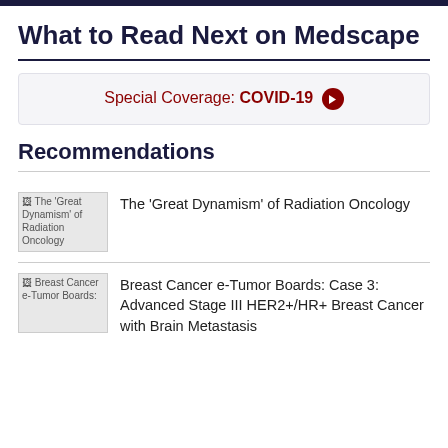What to Read Next on Medscape
Special Coverage: COVID-19 →
Recommendations
The 'Great Dynamism' of Radiation Oncology
Breast Cancer e-Tumor Boards: Case 3: Advanced Stage III HER2+/HR+ Breast Cancer with Brain Metastasis